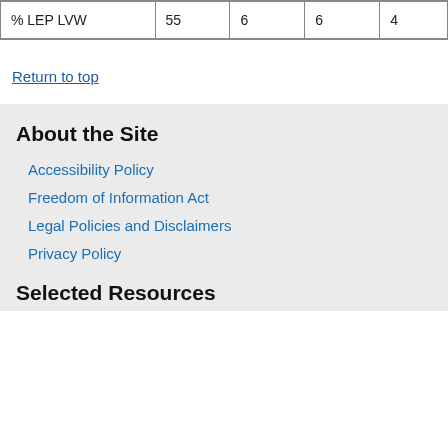| % LEP LVW | 55 | 6 | 6 | 4 |
Return to top
About the Site
Accessibility Policy
Freedom of Information Act
Legal Policies and Disclaimers
Privacy Policy
Selected Resources